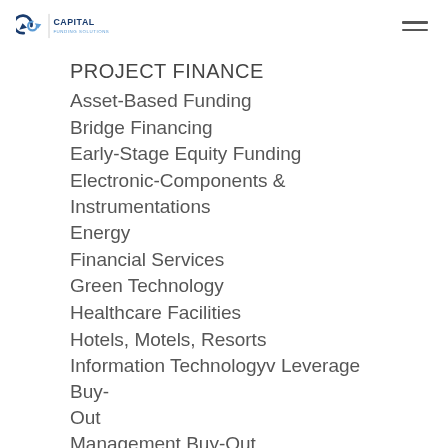Capital Funding Solutions
PROJECT FINANCE
Asset-Based Funding
Bridge Financing
Early-Stage Equity Funding
Electronic-Components & Instrumentations
Energy
Financial Services
Green Technology
Healthcare Facilities
Hotels, Motels, Resorts
Information Technologyv Leverage Buy-Out
Management Buy-Out